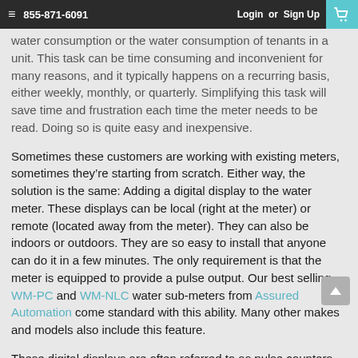855-871-6091 | Login or Sign Up
water consumption or the water consumption of tenants in a unit. This task can be time consuming and inconvenient for many reasons, and it typically happens on a recurring basis, either weekly, monthly, or quarterly. Simplifying this task will save time and frustration each time the meter needs to be read. Doing so is quite easy and inexpensive.
Sometimes these customers are working with existing meters, sometimes they’re starting from scratch. Either way, the solution is the same: Adding a digital display to the water meter. These displays can be local (right at the meter) or remote (located away from the meter). They can also be indoors or outdoors. They are so easy to install that anyone can do it in a few minutes. The only requirement is that the meter is equipped to provide a pulse output. Our best selling WM-PC and WM-NLC water sub-meters from Assured Automation come standard with this ability. Many other makes and models also include this feature.
These digital displays are often referred to as pulse counters. They are connected to the meter with a simple 2-wire cable. This cable connects to the display on one end, and has a switch that attaches